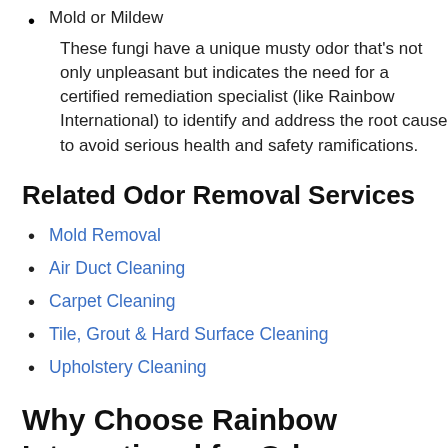Mold or Mildew
These fungi have a unique musty odor that's not only unpleasant but indicates the need for a certified remediation specialist (like Rainbow International) to identify and address the root cause to avoid serious health and safety ramifications.
Related Odor Removal Services
Mold Removal
Air Duct Cleaning
Carpet Cleaning
Tile, Grout & Hard Surface Cleaning
Upholstery Cleaning
Why Choose Rainbow International for Odor...